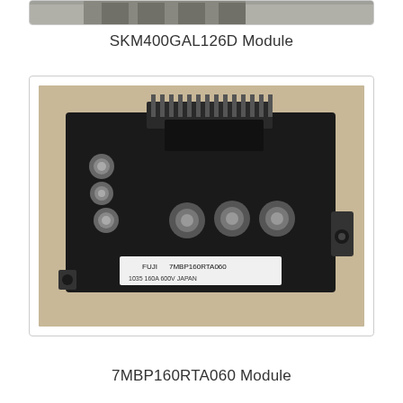[Figure (photo): Partial view of SKM400GAL126D power module, a black rectangular IGBT/power semiconductor module with terminal connectors on top]
SKM400GAL126D Module
[Figure (photo): 7MBP160RTA060 power module by Fuji Electric. Black rectangular IGBT module with six bolt terminals on top, a row of signal connector pins at the top edge, and a label reading '7MBP160RTA060 / 1035 160A 600V JAPAN' on the front face. Module sits on a beige surface.]
7MBP160RTA060 Module